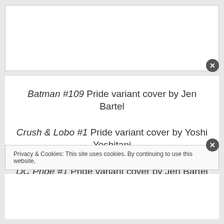Batman #109 Pride variant cover by Jen Bartel
Crush & Lobo #1 Pride variant cover by Yoshi Yoshitani
DC Pride #1 Pride variant cover by Jen Bartel
Harley Quinn #4 Pride variant cover by Kris Anka
Privacy & Cookies: This site uses cookies. By continuing to use this website,